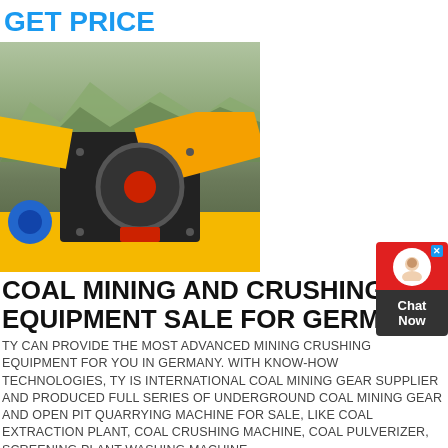GET PRICE
[Figure (photo): A large yellow and black coal crushing/mining machine photographed outdoors with green mountains in the background.]
COAL MINING AND CRUSHING EQUIPMENT SALE FOR GERMANY
TY CAN PROVIDE THE MOST ADVANCED MINING CRUSHING EQUIPMENT FOR YOU IN GERMANY. WITH KNOW-HOW TECHNOLOGIES, TY IS INTERNATIONAL COAL MINING GEAR SUPPLIER AND PRODUCED FULL SERIES OF UNDERGROUND COAL MINING GEAR AND OPEN PIT QUARRYING MACHINE FOR SALE, LIKE COAL EXTRACTION PLANT, COAL CRUSHING MACHINE, COAL PULVERIZER, SCREENING PLANT WASHING MACHINE